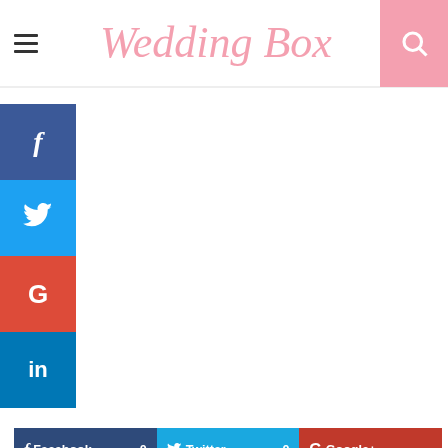Wedding Box
[Figure (infographic): Social share sidebar with Facebook (blue), Twitter (light blue), Google+ (red), LinkedIn (dark blue) icons stacked vertically on the left side]
[Figure (infographic): Social sharing bar with buttons: Facebook 0, Twitter 0, Google+, Pinterest 0, Linkedin 0, DiggDigg 0, Tumblr 0, Reddit 0, E-mail 0]
Product Title: New Pandemic Proof Courting Supply For Ma...
Click here to get New Pandemic Proof...